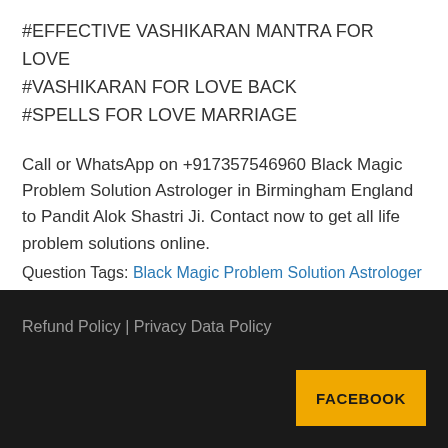#EFFECTIVE VASHIKARAN MANTRA FOR LOVE
#VASHIKARAN FOR LOVE BACK
#SPELLS FOR LOVE MARRIAGE
Call or WhatsApp on +917357546960 Black Magic Problem Solution Astrologer in Birmingham England to Pandit Alok Shastri Ji. Contact now to get all life problem solutions online.
Question Tags: Black Magic Problem Solution Astrologer
Refund Policy | Privacy Data Policy
FACEBOOK